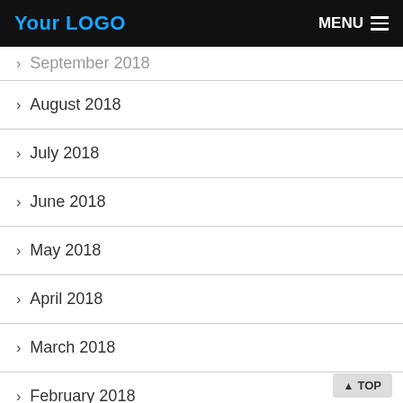Your LOGO   MENU
> September 2018
> August 2018
> July 2018
> June 2018
> May 2018
> April 2018
> March 2018
> February 2018
> January 2018
> December 2017
> November 2017
> October 2017